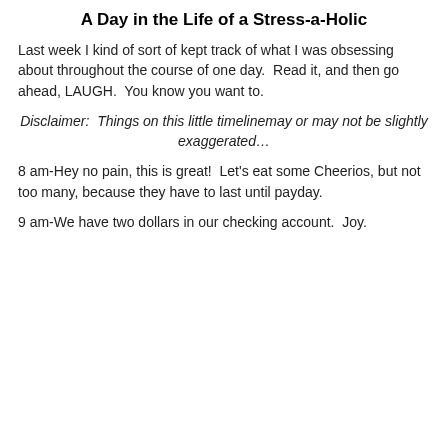A Day in the Life of a Stress-a-Holic
Last week I kind of sort of kept track of what I was obsessing about throughout the course of one day.  Read it, and then go ahead, LAUGH.  You know you want to.
Disclaimer:  Things on this little timelinemay or may not be slightly exaggerated…
8 am-Hey no pain, this is great!  Let's eat some Cheerios, but not too many, because they have to last until payday.
9 am-We have two dollars in our checking account.  Joy.
Privacy & Cookies: This site uses cookies. By continuing to use this website, you agree to their use.
To find out more, including how to control cookies, see here: Cookie Policy